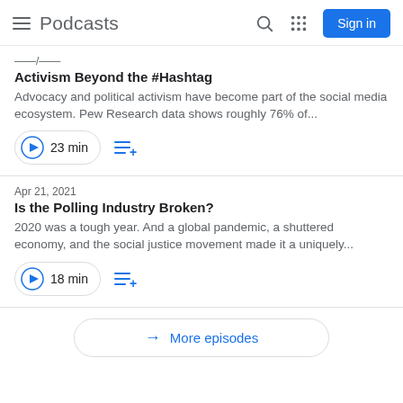Podcasts
Activism Beyond the #Hashtag
Advocacy and political activism have become part of the social media ecosystem. Pew Research data shows roughly 76% of...
23 min
Apr 21, 2021
Is the Polling Industry Broken?
2020 was a tough year. And a global pandemic, a shuttered economy, and the social justice movement made it a uniquely...
18 min
More episodes